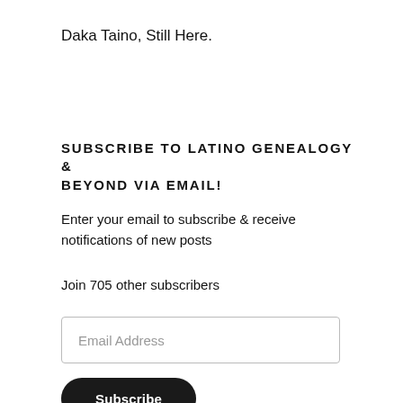Daka Taino, Still Here.
SUBSCRIBE TO LATINO GENEALOGY & BEYOND VIA EMAIL!
Enter your email to subscribe & receive notifications of new posts
Join 705 other subscribers
Email Address
Subscribe